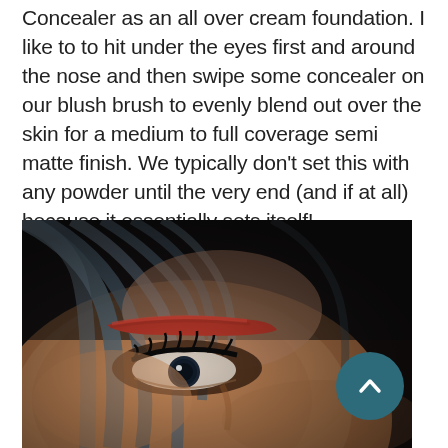Concealer as an all over cream foundation. I like to to hit under the eyes first and around the nose and then swipe some concealer on our blush brush to evenly blend out over the skin for a medium to full coverage semi matte finish. We typically don't set this with any powder until the very end (and if at all) because it essentially sets itself!
[Figure (photo): Close-up photo of a person's face showing blue-gray hair, a red streak across the eyebrow area, and a dark eye with dramatic makeup]